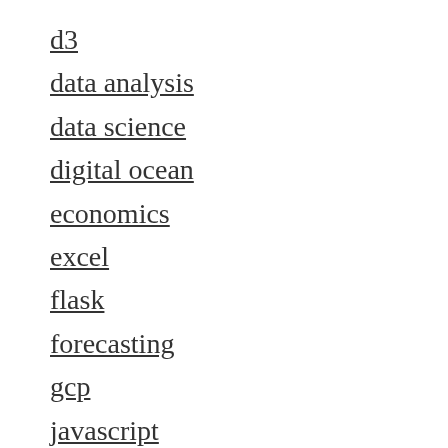d3
data analysis
data science
digital ocean
economics
excel
flask
forecasting
gcp
javascript
leadership
machine learning
maps
mental models
online education
python